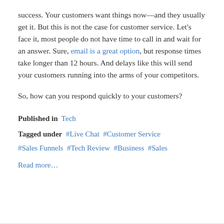success. Your customers want things now—and they usually get it. But this is not the case for customer service. Let's face it, most people do not have time to call in and wait for an answer. Sure, email is a great option, but response times take longer than 12 hours. And delays like this will send your customers running into the arms of your competitors.
So, how can you respond quickly to your customers?
Published in  Tech
Tagged under  #Live Chat  #Customer Service  #Sales Funnels  #Tech Review  #Business  #Sales
Read more…